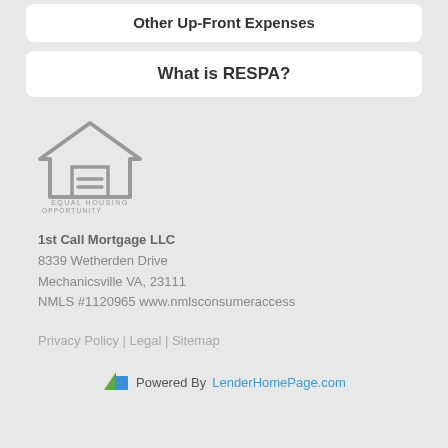Other Up-Front Expenses
What is RESPA?
[Figure (logo): Equal Housing Opportunity logo — house outline with an equal sign, text below reading EQUAL HOUSING OPPORTUNITY]
1st Call Mortgage LLC
8339 Wetherden Drive
Mechanicsville VA, 23111
NMLS #1120965 www.nmlsconsumeraccess
Privacy Policy | Legal | Sitemap
Powered By LenderHomePage.com